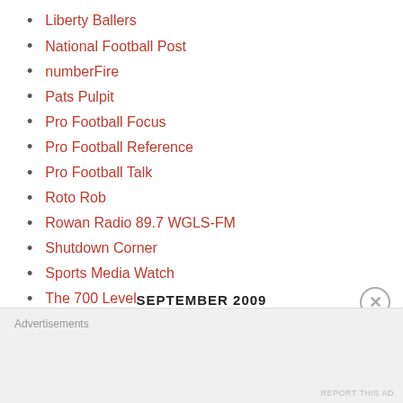Liberty Ballers
National Football Post
numberFire
Pats Pulpit
Pro Football Focus
Pro Football Reference
Pro Football Talk
Roto Rob
Rowan Radio 89.7 WGLS-FM
Shutdown Corner
Sports Media Watch
The 700 Level
The Big Lead
The Huffington Post
SEPTEMBER 2009
Advertisements